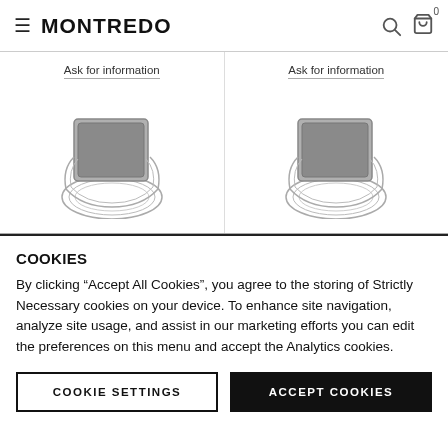MONTREDO
[Figure (illustration): Two watch lugs/cases shown from above, line drawing style with gray rectangular case tops, with 'Ask for information' links above each]
COOKIES
By clicking “Accept All Cookies”, you agree to the storing of Strictly Necessary cookies on your device. To enhance site navigation, analyze site usage, and assist in our marketing efforts you can edit the preferences on this menu and accept the Analytics cookies.
COOKIE SETTINGS | ACCEPT COOKIES